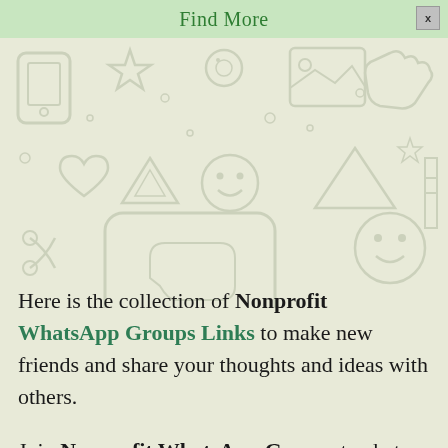Find More
[Figure (illustration): WhatsApp-themed decorative background with outlines of social media and messaging icons including phone, star, heart, image frame, hand gestures, and emoji faces on a light beige/green background]
Here is the collection of Nonprofit WhatsApp Groups Links to make new friends and share your thoughts and ideas with others.
Join Nonprofit WhatsApp Groups to chat and help others for free, help them in learning new languages and skills.